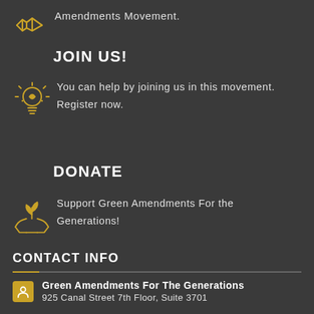Amendments Movement.
JOIN US!
You can help by joining us in this movement. Register now.
DONATE
Support Green Amendments For the Generations!
CONTACT INFO
Green Amendments For The Generations
925 Canal Street 7th Floor, Suite 3701